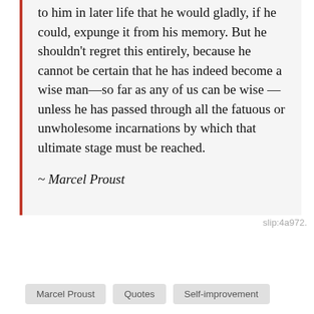to him in later life that he would gladly, if he could, expunge it from his memory. But he shouldn't regret this entirely, because he cannot be certain that he has indeed become a wise man—so far as any of us can be wise —unless he has passed through all the fatuous or unwholesome incarnations by which that ultimate stage must be reached.
~ Marcel Proust
slip:4a972.
Marcel Proust
Quotes
Self-improvement